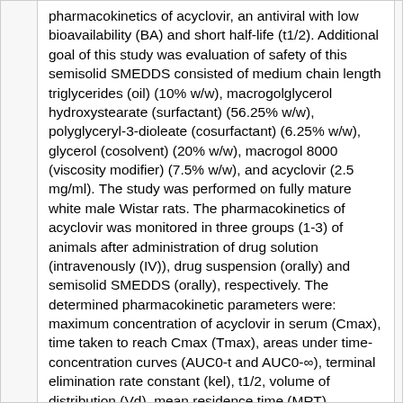pharmacokinetics of acyclovir, an antiviral with low bioavailability (BA) and short half-life (t1/2). Additional goal of this study was evaluation of safety of this semisolid SMEDDS consisted of medium chain length triglycerides (oil) (10% w/w), macrogolglycerol hydroxystearate (surfactant) (56.25% w/w), polyglyceryl-3-dioleate (cosurfactant) (6.25% w/w), glycerol (cosolvent) (20% w/w), macrogol 8000 (viscosity modifier) (7.5% w/w), and acyclovir (2.5 mg/ml). The study was performed on fully mature white male Wistar rats. The pharmacokinetics of acyclovir was monitored in three groups (1-3) of animals after administration of drug solution (intravenously (IV)), drug suspension (orally) and semisolid SMEDDS (orally), respectively. The determined pharmacokinetic parameters were: maximum concentration of acyclovir in serum (Cmax), time taken to reach Cmax (Tmax), areas under time-concentration curves (AUC0-t and AUC0-∞), terminal elimination rate constant (kel), t1/2, volume of distribution (Vd), mean residence time (MRT), clearance (Cl), zero concentration (C0), steady state volume of distribution (Vss), and BA. Additionally, for safety evaluation, animals were treated orally with aqueous solution of acyclovir, drug-free semisolid SMEDDS and acyclovir-loaded semisolid SMEDDS, during 21 days (groups 4-7). Serum samples of sacrificed animals were used for biochemical analysis of enzymatic activity of alanine transaminase (ALT) and aspartate transaminase (AST), urea, creatinine, and uric